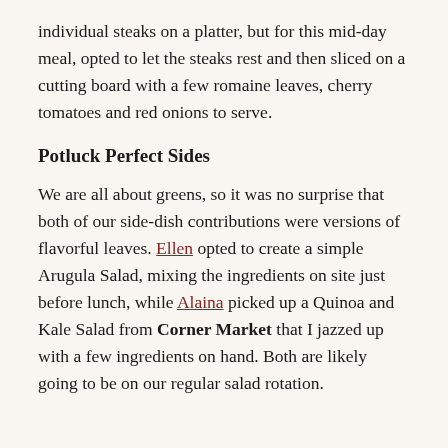individual steaks on a platter, but for this mid-day meal, opted to let the steaks rest and then sliced on a cutting board with a few romaine leaves, cherry tomatoes and red onions to serve.
Potluck Perfect Sides
We are all about greens, so it was no surprise that both of our side-dish contributions were versions of flavorful leaves. Ellen opted to create a simple Arugula Salad, mixing the ingredients on site just before lunch, while Alaina picked up a Quinoa and Kale Salad from Corner Market that I jazzed up with a few ingredients on hand. Both are likely going to be on our regular salad rotation.